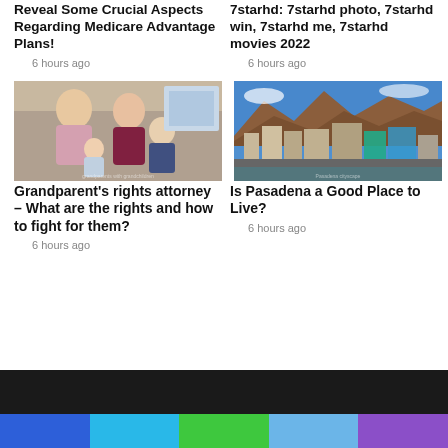Reveal Some Crucial Aspects Regarding Medicare Advantage Plans!
6 hours ago
7starhd: 7starhd photo, 7starhd win, 7starhd me, 7starhd movies 2022
6 hours ago
[Figure (photo): Elderly couple with grandchildren - grandparents smiling and holding babies]
Grandparent's rights attorney – What are the rights and how to fight for them?
6 hours ago
[Figure (photo): Aerial cityscape of Pasadena with mountains in background]
Is Pasadena a Good Place to Live?
6 hours ago